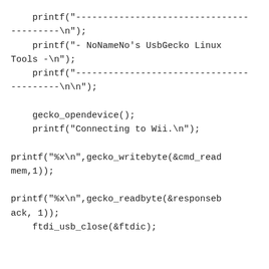printf("--------------------------------
---------\n");
    printf("- NoNameNo's UsbGecko Linux Tools -\n");
    printf("--------------------------------
---------\n\n");

    gecko_opendevice();
    printf("Connecting to Wii.\n");

printf("%x\n",gecko_writebyte(&cmd_readmem,1));

printf("%x\n",gecko_readbyte(&responseback, 1));
    ftdi_usb_close(&ftdic);